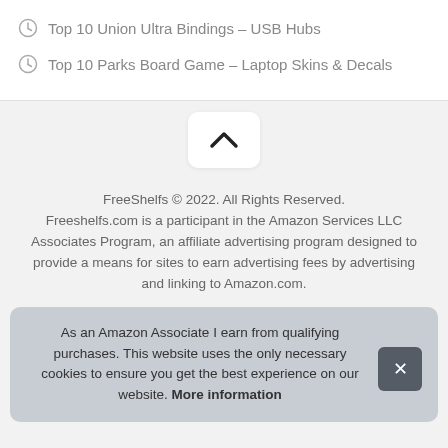Top 10 Union Ultra Bindings – USB Hubs
Top 10 Parks Board Game – Laptop Skins & Decals
[Figure (other): Scroll-to-top button with upward chevron arrow on white rounded rectangle background]
FreeShelfs © 2022. All Rights Reserved. Freeshelfs.com is a participant in the Amazon Services LLC Associates Program, an affiliate advertising program designed to provide a means for sites to earn advertising fees by advertising and linking to Amazon.com.
As an Amazon Associate I earn from qualifying purchases. This website uses the only necessary cookies to ensure you get the best experience on our website. More information